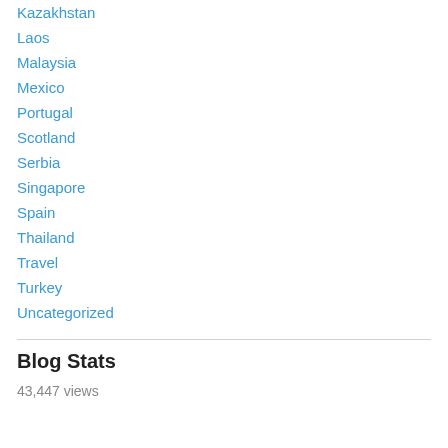Kazakhstan
Laos
Malaysia
Mexico
Portugal
Scotland
Serbia
Singapore
Spain
Thailand
Travel
Turkey
Uncategorized
Blog Stats
43,447 views